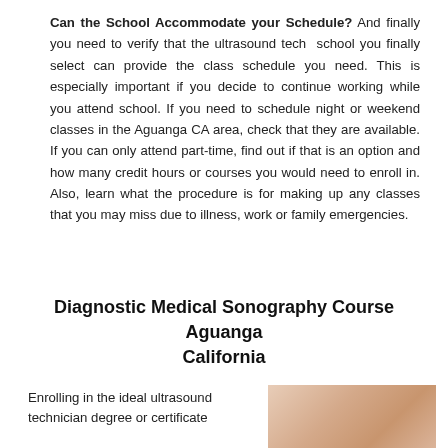Can the School Accommodate your Schedule? And finally you need to verify that the ultrasound tech school you finally select can provide the class schedule you need. This is especially important if you decide to continue working while you attend school. If you need to schedule night or weekend classes in the Aguanga CA area, check that they are available. If you can only attend part-time, find out if that is an option and how many credit hours or courses you would need to enroll in. Also, learn what the procedure is for making up any classes that you may miss due to illness, work or family emergencies.
Diagnostic Medical Sonography Course Aguanga California
Enrolling in the ideal ultrasound technician degree or certificate
[Figure (photo): Partial photo of a medical/sonography related image showing skin tones]